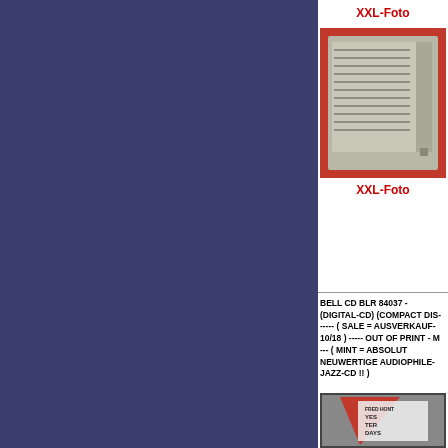[Figure (photo): Large dark blue/navy rectangular panel on the left side of the page]
XXL-Foto
[Figure (photo): Photo of a CD back cover on red background showing track listing]
XXL-Foto
BELL CD BLR 84037 - (DIGITAL-CD) (COMPACT DIS- ----- ( SALE = AUSVERKAUF- 10/18 ) ----- OUT OF PRINT - M--- ( MINT = ABSOLUT NEUWERTIGE AUDIOPHILE- JAZZ-CD !! )
[Figure (photo): Photo of a CD front cover showing Fred Hont Yesterdays album with red and white geometric design]